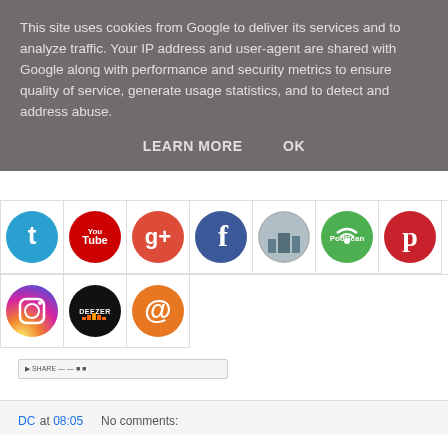This site uses cookies from Google to deliver its services and to analyze traffic. Your IP address and user-agent are shared with Google along with performance and security metrics to ensure quality of service, generate usage statistics, and to detect and address abuse.
LEARN MORE   OK
[Figure (screenshot): Grid of social media icons: Twitter, YouTube, Google+, Facebook, a city photo icon, PodBean, Pinterest in row 1; Instagram, Deezer, email/at-sign in row 2]
[Figure (screenshot): Share/social bar widget with small icons]
DC at 08:05    No comments: